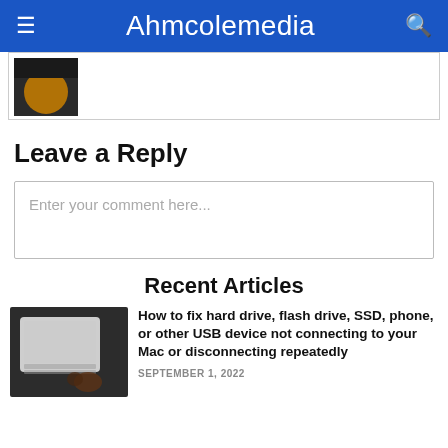≡  Ahmcolemedia  🔍
[Figure (photo): Partial thumbnail image showing dark background with orange/yellow shape]
Leave a Reply
Enter your comment here...
Recent Articles
[Figure (photo): Photo of person using laptop with USB device]
How to fix hard drive, flash drive, SSD, phone, or other USB device not connecting to your Mac or disconnecting repeatedly
SEPTEMBER 1, 2022